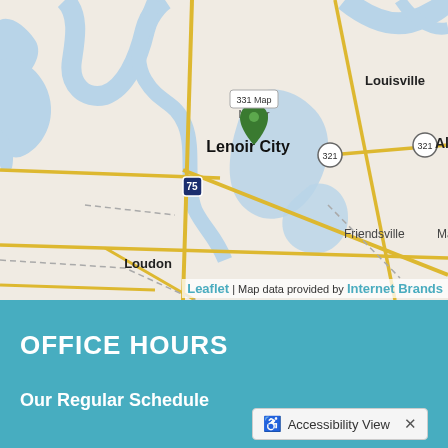[Figure (map): Map showing Lenoir City area in Tennessee with surrounding areas: Louisville, Alcoa, Friendsville, Marywood, Loudon, Tellico Village, Greenback, Philadelphia, Sweetwater. Roads and waterways visible. Map marker placed at Lenoir City area. Interstate 75 and Route 321 labeled.]
Leaflet | Map data provided by Internet Brands
OFFICE HOURS
Our Regular Schedule
Accessibility View